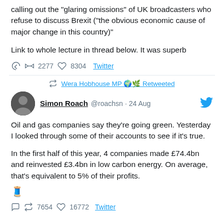calling out the "glaring omissions" of UK broadcasters who refuse to discuss Brexit ("the obvious economic cause of major change in this country")
Link to whole lecture in thread below. It was superb
↺ 2277  ♡ 8304  Twitter
↺ Wera Hobhouse MP 🌍🌿 Retweeted
Simon Roach @roachsn · 24 Aug
Oil and gas companies say they're going green. Yesterday I looked through some of their accounts to see if it's true.

In the first half of this year, 4 companies made £74.4bn and reinvested £3.4bn in low carbon energy. On average, that's equivalent to 5% of their profits.
↺ 7654  ♡ 16772  Twitter